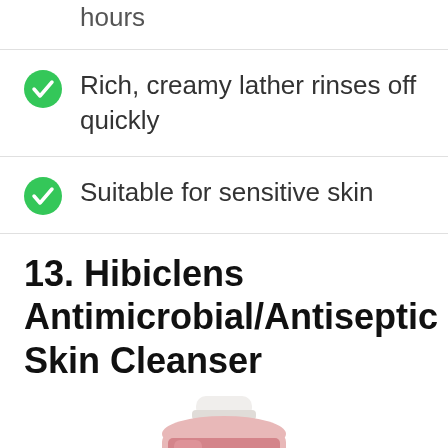hours
Rich, creamy lather rinses off quickly
Suitable for sensitive skin
13. Hibiclens Antimicrobial/Antiseptic Skin Cleanser
[Figure (photo): Partial view of Hibiclens Antimicrobial/Antiseptic Skin Cleanser bottle, pink liquid visible through the bottle, white cap at top, cropped at bottom of page.]